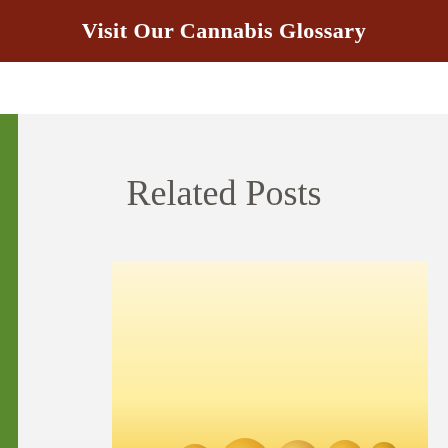Visit Our Cannabis Glossary
Related Posts
[Figure (photo): Blurred warm-toned image with orange and yellow bokeh bubbles at the bottom, serving as a post thumbnail.]
English